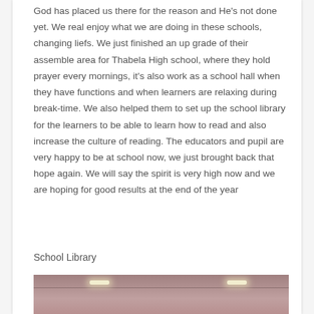God has placed us there for the reason and He's not done yet. We real enjoy what we are doing in these schools, changing liefs. We just finished an up grade of their assemble area for Thabela High school, where they hold prayer every mornings, it's also work as a school hall when they have functions and when learners are relaxing during break-time. We also helped them to set up the school library for the learners to be able to learn how to read and also increase the culture of reading. The educators and pupil are very happy to be at school now, we just brought back that hope again. We will say the spirit is very high now and we are hoping for good results at the end of the year
School Library
[Figure (photo): Interior photo of a school library or hall showing ceiling with fluorescent lights and a plain wall, taken from inside the room.]